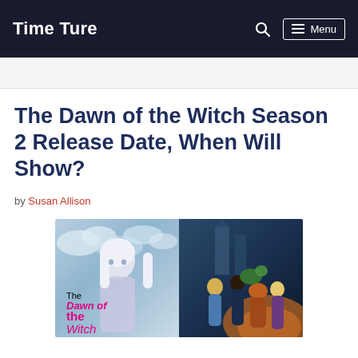Time Ture
The Dawn of the Witch Season 2 Release Date, When Will Show?
by Susan Allison
[Figure (illustration): Anime promotional art for The Dawn of the Witch showing a white-haired female character on the left side and group of anime characters on the right, with the title text 'The Dawn of the Witch' overlaid in pink/magenta.]